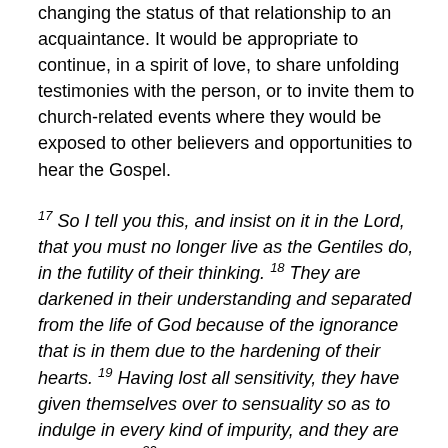changing the status of that relationship to an acquaintance.  It would be appropriate to continue, in a spirit of love, to share unfolding testimonies with the person, or to invite them to church-related events where they would be exposed to other believers and opportunities to hear the Gospel.
17 So I tell you this, and insist on it in the Lord, that you must no longer live as the Gentiles do, in the futility of their thinking. 18 They are darkened in their understanding and separated from the life of God because of the ignorance that is in them due to the hardening of their hearts. 19 Having lost all sensitivity, they have given themselves over to sensuality so as to indulge in every kind of impurity, and they are full of greed. 20 That, however, is not the way of life you learned.  (Eph 4:17-20 NIV)  The fact is that unsaved people, no matter how nice they are or how